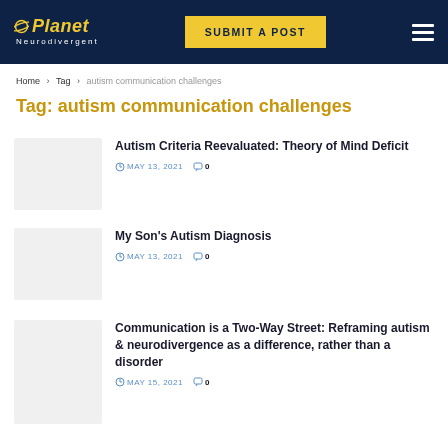Planet Neurodivergent | SUBMIT A POST
Home > Tag > autism communication challenges
Tag: autism communication challenges
Autism Criteria Reevaluated: Theory of Mind Deficit | MAY 13, 2021 | 0 comments
My Son's Autism Diagnosis | MAY 13, 2021 | 0 comments
Communication is a Two-Way Street: Reframing autism & neurodivergence as a difference, rather than a disorder | MAY 15, 2021 | 0 comments